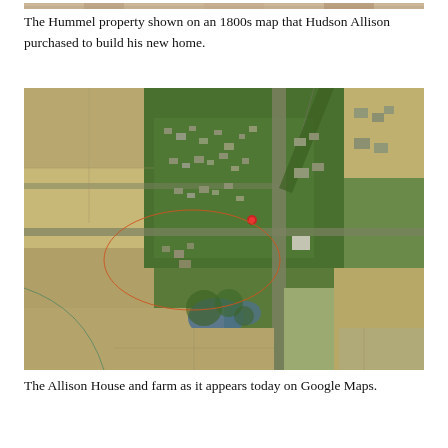[Figure (photo): Partial view of the Hummel property shown on an 1800s map — cropped strip at top of page]
The Hummel property shown on an 1800s map that Hudson Allison purchased to build his new home.
[Figure (map): Aerial satellite view (Google Maps) of the Allison House and farm, showing agricultural fields, a small town, and a road. An orange oval circle highlights the farm property on the left-center of the image. A small red dot marker is visible near the center of the town.]
The Allison House and farm as it appears today on Google Maps.